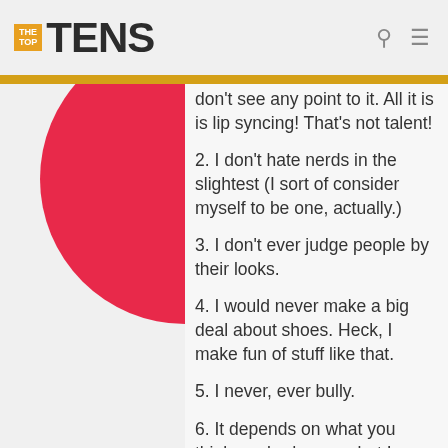THE TOP TENS
[Figure (illustration): Partial red circle on white background, visible in the left portion of the content area]
don't see any point to it. All it is is lip syncing! That's not talent!
2. I don't hate nerds in the slightest (I sort of consider myself to be one, actually.)
3. I don't ever judge people by their looks.
4. I would never make a big deal about shoes. Heck, I make fun of stuff like that.
5. I never, ever bully.
6. It depends on what you think are bad songs, but I